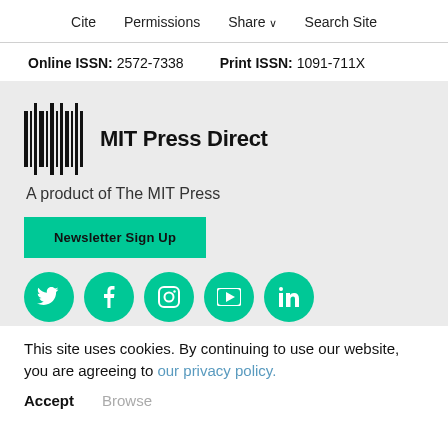Cite  Permissions  Share  Search Site
Online ISSN: 2572-7338   Print ISSN: 1091-711X
[Figure (logo): MIT Press Direct logo with barcode graphic on the left and 'MIT Press Direct' text on the right]
A product of The MIT Press
Newsletter Sign Up
[Figure (infographic): Row of five green circular social media icons: Twitter, Facebook, Instagram, YouTube, LinkedIn]
This site uses cookies. By continuing to use our website, you are agreeing to our privacy policy.
Accept  Browse